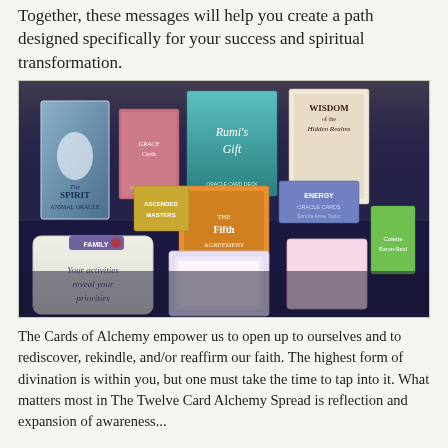Together, these messages will help you create a path designed specifically for your success and spiritual transformation.
[Figure (photo): Photo of a collection of oracle card decks and spiritual books displayed on a dark blue table. Visible items include: Spirit Animal Oracle by Colette Baron-Reid, Grace Cards by Cheryl Richardson, Rumi's Gift, Wisdom of the Hidden Realms by Colette Baron-Reid, The Fifth Agreement, Ascended Masters cards, Energy Oracle Cards by Sandra Anne Taylor, and a white card reading 'Your activities reveal your priorities' with a FAMILY label card.]
The Cards of Alchemy empower us to open up to ourselves and to rediscover, rekindle, and/or reaffirm our faith. The highest form of divination is within you, but one must take the time to tap into it. What matters most in The Twelve Card Alchemy Spread is reflection and expansion of awareness...